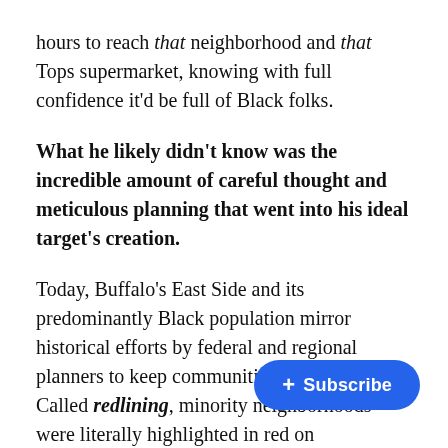hours to reach that neighborhood and that Tops supermarket, knowing with full confidence it'd be full of Black folks.
What he likely didn't know was the incredible amount of careful thought and meticulous planning that went into his ideal target's creation.
Today, Buffalo's East Side and its predominantly Black population mirror historical efforts by federal and regional planners to keep communities segregated. Called redlining, minority neighborhoods were literally highlighted in red on underwriting maps to help lenders determine loan eligibility. (Take a guess at which wa… Restrictive covenants—clauses attached to deeds